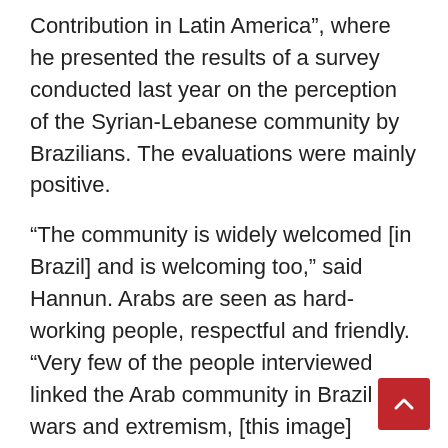Contribution in Latin America", where he presented the results of a survey conducted last year on the perception of the Syrian-Lebanese community by Brazilians. The evaluations were mainly positive.
“The community is widely welcomed [in Brazil] and is welcoming too,” said Hannun. Arabs are seen as hard-working people, respectful and friendly. “Very few of the people interviewed linked the Arab community in Brazil to wars and extremism, [this image] doesn’t hold up,” he added, making a reference to the wide coverage of the press about the Middle East conflicts.
The event was attended by personalities of the Lebanese community in Latin America, such as the congresswoman from Uruguay Laura Dergham, Brazilian advertising executive Roberto Duailibi, Théa Trabulse Namour, president of São Paulo cardiology center Hospital do Coração, Vera Jereissati Haddad, president of the Child